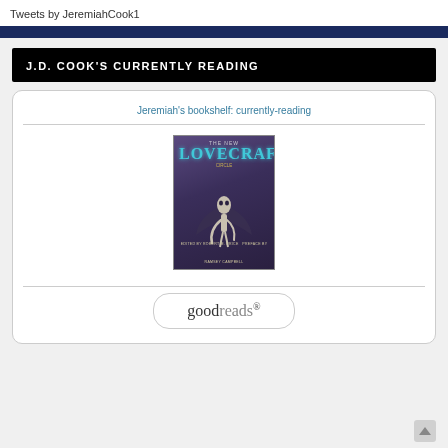Tweets by JeremiahCook1
J.D. COOK'S CURRENTLY READING
Jeremiah's bookshelf: currently-reading
[Figure (illustration): Book cover of The New Lovecraft Circle, showing a skeletal winged figure on a dark purple background with teal title text]
[Figure (logo): Goodreads logo in a rounded rectangle button]